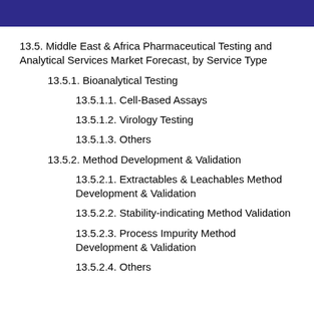13.5. Middle East & Africa Pharmaceutical Testing and Analytical Services Market Forecast, by Service Type
13.5.1. Bioanalytical Testing
13.5.1.1. Cell-Based Assays
13.5.1.2. Virology Testing
13.5.1.3. Others
13.5.2. Method Development & Validation
13.5.2.1. Extractables & Leachables Method Development & Validation
13.5.2.2. Stability-indicating Method Validation
13.5.2.3. Process Impurity Method Development & Validation
13.5.2.4. Others